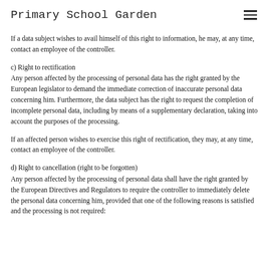Primary School Garden
If a data subject wishes to avail himself of this right to information, he may, at any time, contact an employee of the controller.
c) Right to rectification
Any person affected by the processing of personal data has the right granted by the European legislator to demand the immediate correction of inaccurate personal data concerning him. Furthermore, the data subject has the right to request the completion of incomplete personal data, including by means of a supplementary declaration, taking into account the purposes of the processing.
If an affected person wishes to exercise this right of rectification, they may, at any time, contact an employee of the controller.
d) Right to cancellation (right to be forgotten)
Any person affected by the processing of personal data shall have the right granted by the European Directives and Regulators to require the controller to immediately delete the personal data concerning him, provided that one of the following reasons is satisfied and the processing is not required: